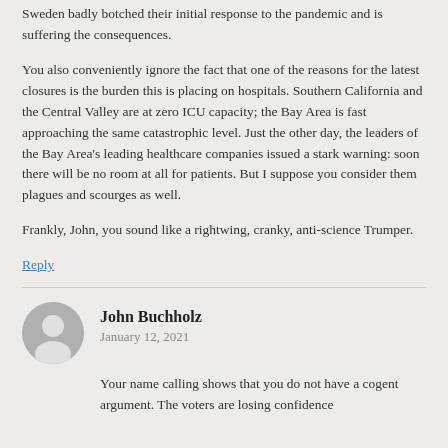Sweden badly botched their initial response to the pandemic and is suffering the consequences.
You also conveniently ignore the fact that one of the reasons for the latest closures is the burden this is placing on hospitals. Southern California and the Central Valley are at zero ICU capacity; the Bay Area is fast approaching the same catastrophic level. Just the other day, the leaders of the Bay Area's leading healthcare companies issued a stark warning: soon there will be no room at all for patients. But I suppose you consider them plagues and scourges as well.
Frankly, John, you sound like a rightwing, cranky, anti-science Trumper.
Reply
John Buchholz
January 12, 2021
Your name calling shows that you do not have a cogent argument. The voters are losing confidence in this country for Democrats and are switching.